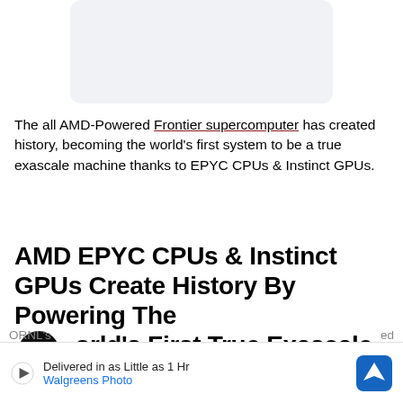[Figure (other): Light gray rounded rectangle placeholder image area]
The all AMD-Powered Frontier supercomputer has created history, becoming the world's first system to be a true exascale machine thanks to EPYC CPUs & Instinct GPUs.
AMD EPYC CPUs & Instinct GPUs Create History By Powering The World's First True Exascale Supercomputer. Frontier
ORNL's [cut off] ed
[Figure (other): Ad banner: Delivered in as Little as 1 Hr - Walgreens Photo, with play and navigation icons]